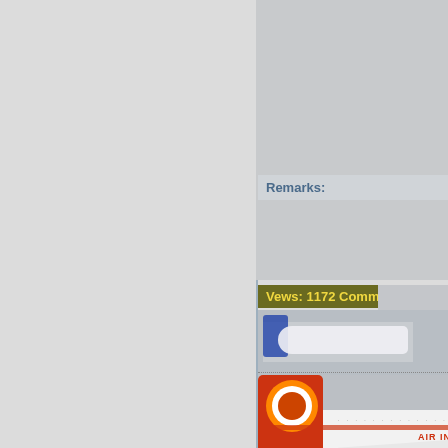[Figure (photo): Partial view of airplane on tarmac/runway, top portion cut off, brown/tan ground visible below]
Remarks:
Vews: 1172 Comments: 0
[Figure (photo): Air India Airbus aircraft (red sun logo, red engines) taxiing on runway, another aircraft visible in background]
Remarks:
Vews: 1116 Comments: 0
[Figure (photo): Airplane on runway, partially visible at bottom of page]